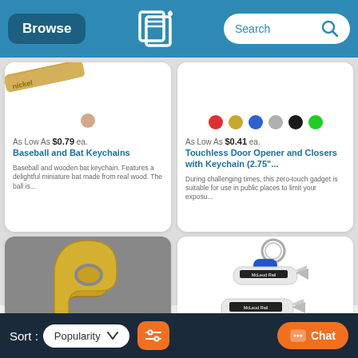Browse | Logo | Search
[Figure (screenshot): Product card: Baseball and Bat Keychains - image shows nickel-colored bat keychain, one beige color dot, price As Low As $0.79 ea., product name and description]
[Figure (screenshot): Product card: Touchless Door Opener and Closers with Keychain (2.75"... - color dots in red, gold, blue, grey, black, green, price As Low As $0.41 ea., product description]
[Figure (photo): Bottom left card showing gold-colored touchless door opener/hook]
[Figure (photo): Bottom right card showing whistle-style keychain with McLeod Rail branding]
Sort : Popularity  [filter icon]  [Chat button]